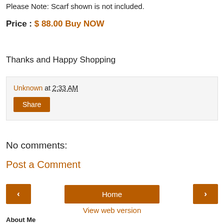Please Note: Scarf shown is not included.
Price : $ 88.00 Buy NOW
Thanks and Happy Shopping
Unknown at 2:33 AM
Share
No comments:
Post a Comment
Home
View web version
About Me